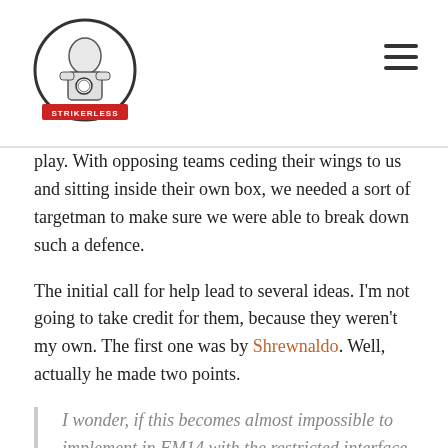Strikerless [logo] [hamburger menu]
play. With opposing teams ceding their wings to us and sitting inside their own box, we needed a sort of targetman to make sure we were able to break down such a defence.
The initial call for help lead to several ideas. I'm not going to take credit for them, because they weren't my own. The first one was by Shrewnaldo. Well, actually he made two points.
I wonder, if this becomes almost impossible to implement in FM14 with the restricted interface, if it might be more plausible to select one of the wide AMs as a wide targetman...